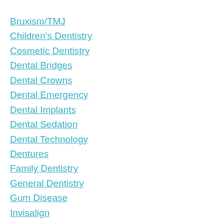Bruxism/TMJ
Children's Dentistry
Cosmetic Dentistry
Dental Bridges
Dental Crowns
Dental Emergency
Dental Implants
Dental Sedation
Dental Technology
Dentures
Family Dentistry
General Dentistry
Gum Disease
Invisalign
Preventive Dentistry
Restorative Dentistry
Tooth Loss Extraction